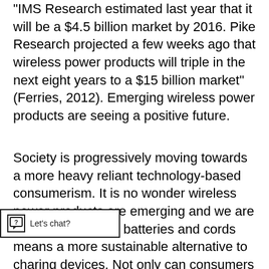“IMS Research estimated last year that it will be a $4.5 billion market by 2016. Pike Research projected a few weeks ago that wireless power products will triple in the next eight years to a $15 billion market” (Ferries, 2012). Emerging wireless power products are seeing a positive future.
Society is progressively moving towards a more heavy reliant technology-based consumerism. It is no wonder wireless power products are emerging and we are listening. No more batteries and cords means a more sustainable alternative to charing devices. Not only can consumers it, the market will also rin Solijaic, MIT physicist who helped create WiTricity, predicts “that